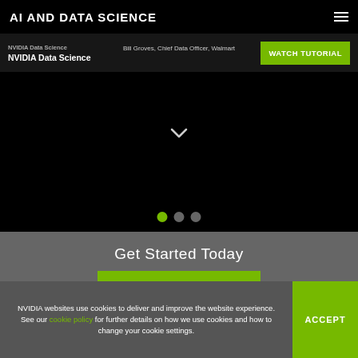AI AND DATA SCIENCE
NVIDIA Data Science
Bill Groves, Chief Data Officer, Walmart
[Figure (screenshot): Dark hero area / slideshow panel showing NVIDIA Data Science content with a watch tutorial button and carousel navigation dots]
Get Started Today
WATCH TUTORIAL
NVIDIA websites use cookies to deliver and improve the website experience. See our cookie policy for further details on how we use cookies and how to change your cookie settings.
ACCEPT